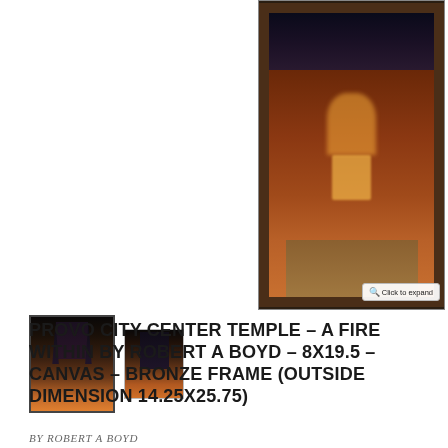[Figure (photo): Framed artwork of Provo City Center Temple at night/dusk, with a dark bronze ornate frame. The church facade is illuminated with warm golden light against a dramatic sky.]
[Figure (photo): Selected thumbnail (with border) showing the top spires of the Provo City Center Temple artwork at dusk with orange sky.]
[Figure (photo): Second thumbnail showing a different view of the Provo City Center Temple artwork.]
PROVO CITY CENTER TEMPLE – A FIRE WITHIN BY ROBERT A BOYD – 8X19.5 – CANVAS – BRONZE FRAME (OUTSIDE DIMENSION 14.25X25.75)
BY ROBERT A BOYD